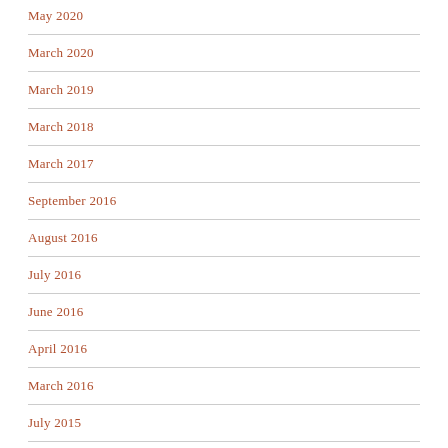May 2020
March 2020
March 2019
March 2018
March 2017
September 2016
August 2016
July 2016
June 2016
April 2016
March 2016
July 2015
February 2015